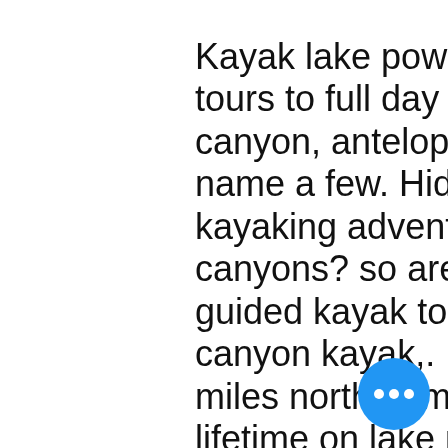Kayak lake powell with us. From 3 hour tours to full day or overnight. Lone rock canyon, antelope canyon, padre bay to name a few. Hidden canyon kayak up for a kayaking adventure through the slot canyons? so are we! one of our favorite guided kayak tour companies, hidden canyon kayak,. Mill canyon, located 15 miles north of moab off u. Vacation of a lifetime on lake powell, living on a houseboat, tooting around in a speedboat, and exploring slot canyons in a sea eagle inflatable kayak. Hidden canyon kayak at lake powell offers a variety of rental and tour activities. We specialize in kayak tours and rentals as well as paddleboard rentals
The prizes include: Welcome bonus No deposit bonus Loyalty bonus Deposit spin, fun xmas games to play online. Always review the terms and conditions of the beforehand, note the claiming code (if make your deposit, then enter the code to
[Figure (other): Blue circular floating action button with three horizontal dots (ellipsis) icon]